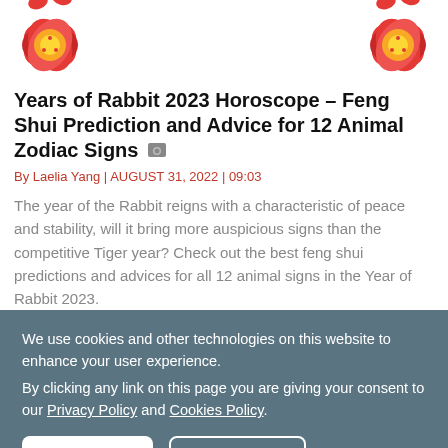[Figure (illustration): Two red decorative flower/plum blossom ornaments in the top-left and top-right corners, partially cropped, on a white background.]
Years of Rabbit 2023 Horoscope – Feng Shui Prediction and Advice for 12 Animal Zodiac Signs
By Laelia Yang | AUGUST 31, 2022 | 09:03
The year of the Rabbit reigns with a characteristic of peace and stability, will it bring more auspicious signs than the competitive Tiger year? Check out the best feng shui predictions and advices for all 12 animal signs in the Year of Rabbit 2023.
[Figure (screenshot): A colorful banner image with the word DAILY in large stylized yellow text and '2023' partially visible on a purple/orange gradient background.]
We use cookies and other technologies on this website to enhance your user experience.
By clicking any link on this page you are giving your consent to our Privacy Policy and Cookies Policy.
Ok I Agree
Learn More